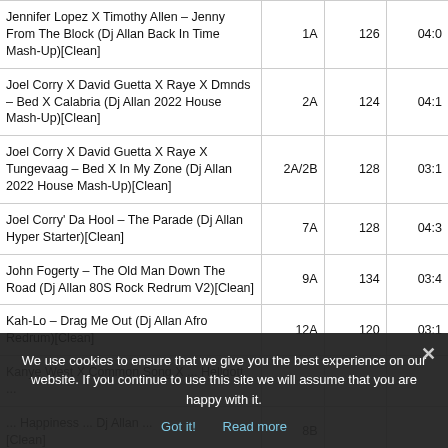| Track | Key | BPM | Duration |
| --- | --- | --- | --- |
| Jennifer Lopez X Timothy Allen – Jenny From The Block (Dj Allan Back In Time Mash-Up)[Clean] | 1A | 126 | 04:0 |
| Joel Corry X David Guetta X Raye X Dmnds – Bed X Calabria (Dj Allan 2022 House Mash-Up)[Clean] | 2A | 124 | 04:1 |
| Joel Corry X David Guetta X Raye X Tungevaag – Bed X In My Zone (Dj Allan 2022 House Mash-Up)[Clean] | 2A/2B | 128 | 03:1 |
| Joel Corry' Da Hool – The Parade (Dj Allan Hyper Starter)[Clean] | 7A | 128 | 04:3 |
| John Fogerty – The Old Man Down The Road (Dj Allan 80S Rock Redrum V2)[Clean] | 9A | 134 | 03:4 |
| Kah-Lo – Drag Me Out (Dj Allan Afro Redrum)[Clean] | 12A | 120 | 03:1 |
We use cookies to ensure that we give you the best experience on our website. If you continue to use this site we will assume that you are happy with it.